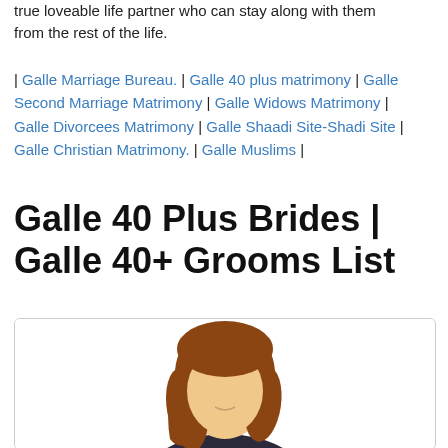true loveable life partner who can stay along with them from the rest of the life.
| Galle Marriage Bureau. | Galle 40 plus matrimony | Galle Second Marriage Matrimony | Galle Widows Matrimony | Galle Divorcees Matrimony | Galle Shaadi Site-Shadi Site | Galle Christian Matrimony. | Galle Muslims |
Galle 40 Plus Brides | Galle 40+ Grooms List
[Figure (illustration): A generic female avatar illustration showing a woman with brown hair, no facial features visible, wearing dark clothing, inside a rounded rectangle card.]